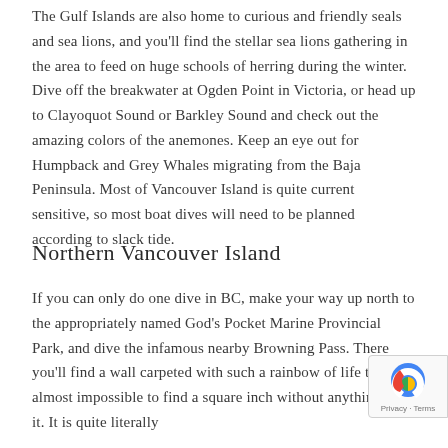The Gulf Islands are also home to curious and friendly seals and sea lions, and you'll find the stellar sea lions gathering in the area to feed on huge schools of herring during the winter. Dive off the breakwater at Ogden Point in Victoria, or head up to Clayoquot Sound or Barkley Sound and check out the amazing colors of the anemones. Keep an eye out for Humpback and Grey Whales migrating from the Baja Peninsula. Most of Vancouver Island is quite current sensitive, so most boat dives will need to be planned according to slack tide.
Northern Vancouver Island
If you can only do one dive in BC, make your way up north to the appropriately named God's Pocket Marine Provincial Park, and dive the infamous nearby Browning Pass. There you'll find a wall carpeted with such a rainbow of life that it is almost impossible to find a square inch without anything on it. It is quite literally